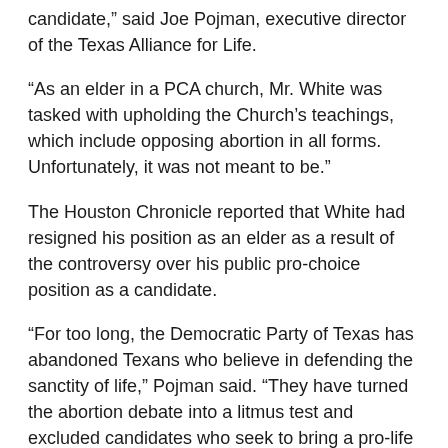candidate,” said Joe Pojman, executive director of the Texas Alliance for Life.
“As an elder in a PCA church, Mr. White was tasked with upholding the Church’s teachings, which include opposing abortion in all forms. Unfortunately, it was not meant to be.”
The Houston Chronicle reported that White had resigned his position as an elder as a result of the controversy over his public pro-choice position as a candidate.
“For too long, the Democratic Party of Texas has abandoned Texans who believe in defending the sanctity of life,” Pojman said. “They have turned the abortion debate into a litmus test and excluded candidates who seek to bring a pro-life voice into the party, and thus have forced Mr. White to abandon his pro-life position.”